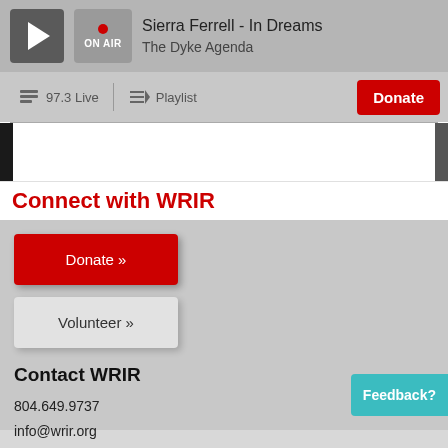Sierra Ferrell - In Dreams
The Dyke Agenda
97.3 Live   Playlist
Donate
Connect with WRIR
Donate »
Volunteer »
Contact WRIR
804.649.9737
info@wrir.org
Feedback?